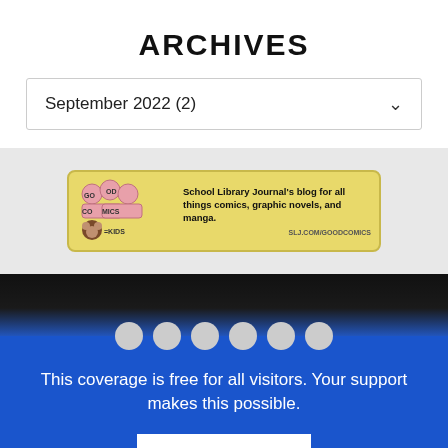ARCHIVES
September 2022  (2)
[Figure (illustration): Good Comics for Kids banner ad — School Library Journal's blog for all things comics, graphic novels, and manga. URL: slj.com/goodcomics]
This coverage is free for all visitors. Your support makes this possible.
SUBSCRIBE